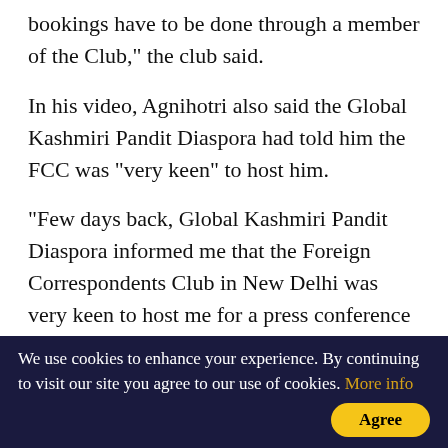bookings have to be done through a member of the Club," the club said.
In his video, Agnihotri also said the Global Kashmiri Pandit Diaspora had told him the FCC was "very keen" to host him.
"Few days back, Global Kashmiri Pandit Diaspora informed me that the Foreign Correspondents Club in New Delhi was very keen to host me for a press conference as many foreign media wanted to talk to me about 'The Kashmir Files' and the truth of the Kashmiri Hindu genocide," he said.
Accordingly, the press conference was scheduled for 7
We use cookies to enhance your experience. By continuing to visit our site you agree to our use of cookies. More info Agree